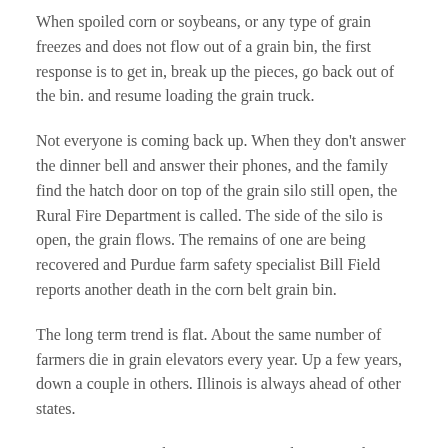When spoiled corn or soybeans, or any type of grain freezes and does not flow out of a grain bin, the first response is to get in, break up the pieces, go back out of the bin. and resume loading the grain truck.
Not everyone is coming back up. When they don't answer the dinner bell and answer their phones, and the family find the hatch door on top of the grain silo still open, the Rural Fire Department is called. The side of the silo is open, the grain flows. The remains of one are being recovered and Purdue farm safety specialist Bill Field reports another death in the corn belt grain bin.
The long term trend is flat. About the same number of farmers die in grain elevators every year. Up a few years, down a couple in others. Illinois is always ahead of other states.
Consumers Want Fiber, Businesses Looking To Deliver, Ag